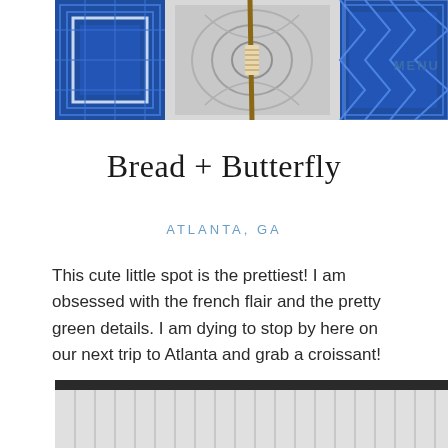[Figure (photo): Top portion of a photo showing decorative blue and white patterned tiles and wooden chairs with blue and white geometric Greek key pattern cushions]
MENU
Bread + Butterfly
ATLANTA, GA
This cute little spot is the prettiest! I am obsessed with the french flair and the pretty green details. I am dying to stop by here on our next trip to Atlanta and grab a croissant!
[Figure (photo): Bottom portion of a photo showing a dark metal roof overhang above white wooden slat patio or deck surface]